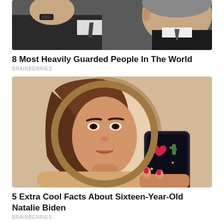[Figure (photo): Close-up photo of an older man in a dark suit with a tie, wearing a watch, raising his fist or hand near his face]
8 Most Heavily Guarded People In The World
BRAINBERRIES
[Figure (photo): Young woman with long brown hair taking a mirror selfie with a phone in a decorative case featuring cactus and heart designs]
5 Extra Cool Facts About Sixteen-Year-Old Natalie Biden
BRAINBERRIES